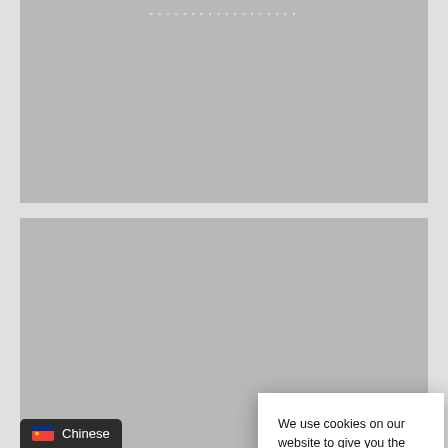[Figure (screenshot): Gray placeholder image card at top of page with small repeated square text pattern at top center]
[Figure (screenshot): Gray placeholder image card in middle with white text showing corrupted characters resembling '□□8/7□□' and overlapping cookie consent dialog]
We use cookies on our website to give you the most relevant experience by remembering your preferences and repeat visits. By clicking “Accept”, you consent to the use of ALL the cookies.
Do not sell my personal information.
Cookie settings
ACCEPT
[Figure (screenshot): Gray placeholder card at bottom partially visible]
Chinese